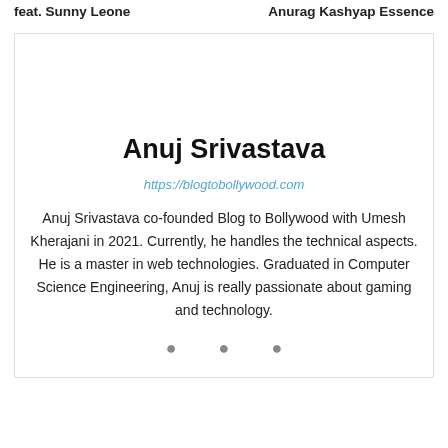feat. Sunny Leone   Anurag Kashyap Essence
Anuj Srivastava
https://blogtobollywood.com
Anuj Srivastava co-founded Blog to Bollywood with Umesh Kherajani in 2021. Currently, he handles the technical aspects. He is a master in web technologies. Graduated in Computer Science Engineering, Anuj is really passionate about gaming and technology.